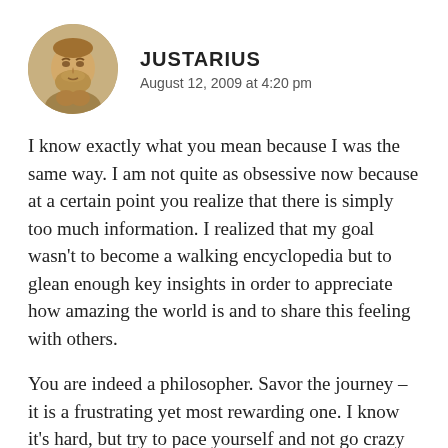[Figure (photo): Circular avatar image of a classical stone statue of a bearded male figure, resembling a Greek philosopher bust.]
JUSTARIUS
August 12, 2009 at 4:20 pm
I know exactly what you mean because I was the same way. I am not quite as obsessive now because at a certain point you realize that there is simply too much information. I realized that my goal wasn't to become a walking encyclopedia but to glean enough key insights in order to appreciate how amazing the world is and to share this feeling with others.
You are indeed a philosopher. Savor the journey – it is a frustrating yet most rewarding one. I know it's hard, but try to pace yourself and not go crazy like poor Nietzsche (and others).